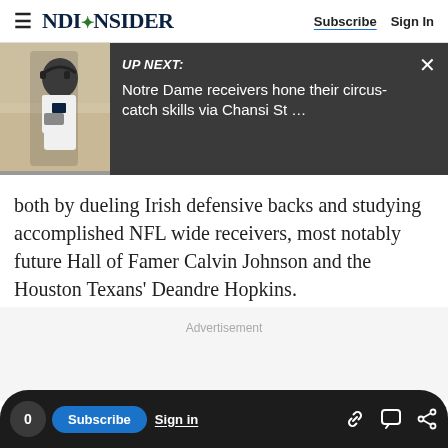NDINSiDER — Subscribe | Sign In
[Figure (screenshot): Up Next banner with photo of Notre Dame coach/player on sideline and text: UP NEXT: Notre Dame receivers hone their circus-catch skills via Chansi St ...]
both by dueling Irish defensive backs and studying accomplished NFL wide receivers, most notably future Hall of Famer Calvin Johnson and the Houston Texans' Deandre Hopkins.
Advertisement
0  Subscribe  Sign in  [link icon] [comment icon] [share icon]